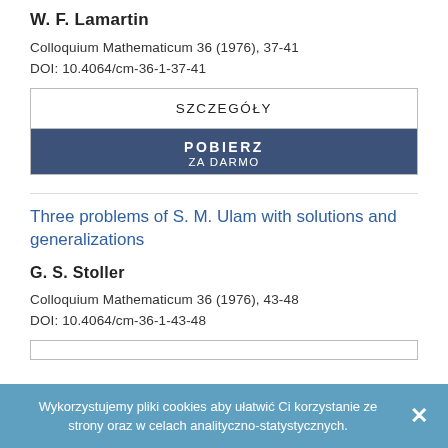W. F. Lamartin
Colloquium Mathematicum 36 (1976), 37-41
DOI: 10.4064/cm-36-1-37-41
SZCZEGÓŁY
POBIERZ ZA DARMO
Three problems of S. M. Ulam with solutions and generalizations
G. S. Stoller
Colloquium Mathematicum 36 (1976), 43-48
DOI: 10.4064/cm-36-1-43-48
Wykorzystujemy pliki cookies aby ułatwić Ci korzystanie ze strony oraz w celach analityczno-statystycznych.